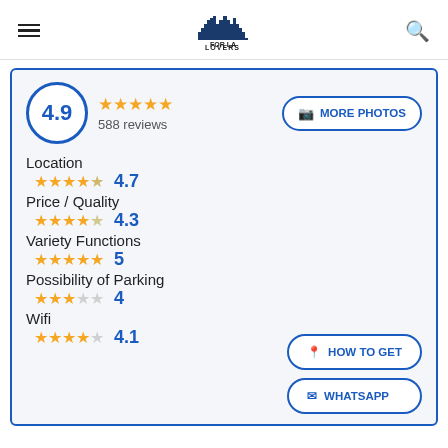FOR LA LOVERS
4.9 — 588 reviews
Location 4.7
Price / Quality 4.3
Variety Functions 5
Possibility of Parking 4
Wifi 4.1